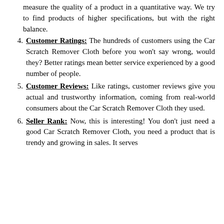measure the quality of a product in a quantitative way. We try to find products of higher specifications, but with the right balance.
Customer Ratings: The hundreds of customers using the Car Scratch Remover Cloth before you won't say wrong, would they? Better ratings mean better service experienced by a good number of people.
Customer Reviews: Like ratings, customer reviews give you actual and trustworthy information, coming from real-world consumers about the Car Scratch Remover Cloth they used.
Seller Rank: Now, this is interesting! You don't just need a good Car Scratch Remover Cloth, you need a product that is trendy and growing in sales. It serves...